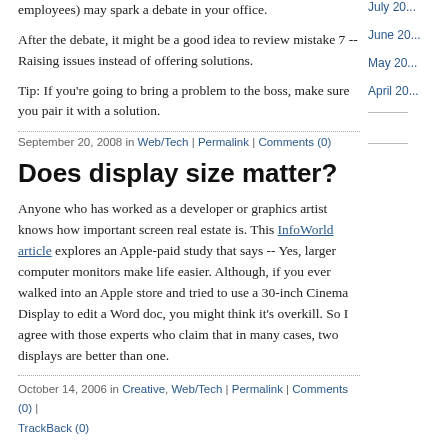employees) may spark a debate in your office.
After the debate, it might be a good idea to review mistake 7 -- Raising issues instead of offering solutions.
Tip: If you're going to bring a problem to the boss, make sure you pair it with a solution.
September 20, 2008 in Web/Tech | Permalink | Comments (0)
Does display size matter?
Anyone who has worked as a developer or graphics artist knows how important screen real estate is. This InfoWorld article explores an Apple-paid study that says -- Yes, larger computer monitors make life easier. Although, if you ever walked into an Apple store and tried to use a 30-inch Cinema Display to edit a Word doc, you might think it's overkill. So I agree with those experts who claim that in many cases, two displays are better than one.
October 14, 2006 in Creative, Web/Tech | Permalink | Comments (0) | TrackBack (0)
July 20...
June 20...
May 20...
April 20...